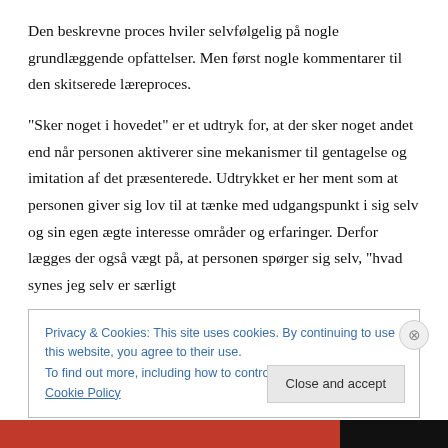Den beskrevne proces hviler selvfølgelig på nogle grundlæggende opfattelser. Men først nogle kommentarer til den skitserede læreproces.
“Sker noget i hovedet” er et udtryk for, at der sker noget andet end når personen aktiverer sine mekanismer til gentagelse og imitation af det præsenterede. Udtrykket er her ment som at personen giver sig lov til at tænke med udgangspunkt i sig selv og sin egen ægte interesse områder og erfaringer. Derfor lægges der også vægt på, at personen spørger sig selv, “hvad synes jeg selv er særligt
Privacy & Cookies: This site uses cookies. By continuing to use this website, you agree to their use.
To find out more, including how to control cookies, see here: Cookie Policy
Close and accept